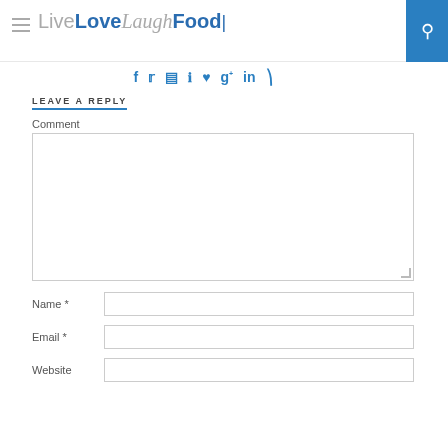Live Love Laugh Food
f  Twitter  Instagram  Pinterest  Heart  g+  in  RSS
LEAVE A REPLY
Comment
Name *
Email *
Website